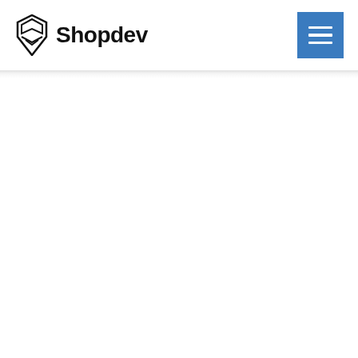[Figure (logo): Shopdev logo with shield/hexagon icon and bold text 'Shopdev']
[Figure (screenshot): Blue hamburger menu button with three white horizontal lines]